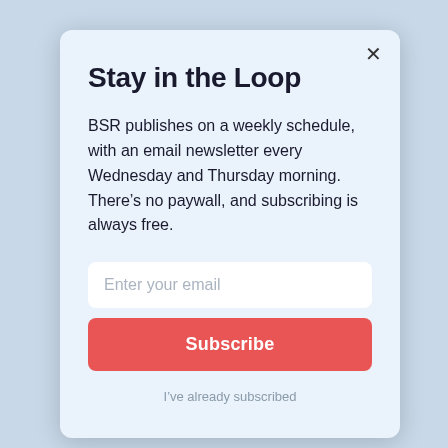Stay in the Loop
BSR publishes on a weekly schedule, with an email newsletter every Wednesday and Thursday morning. There’s no paywall, and subscribing is always free.
Enter your email
Subscribe
I’ve already subscribed